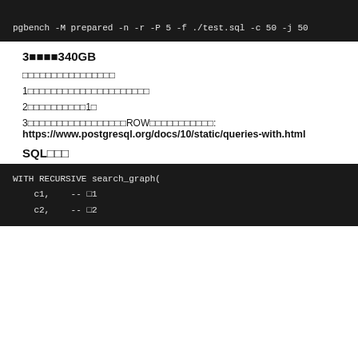[Figure (screenshot): Top black bar (partial code block from previous section)]
pgbench -M prepared -n -r -P 5 -f ./test.sql -c 50 -j 50
3□□□□340GB
□□□□□□□□□□□□□□□□
1□□□□□□□□□□□□□□□□□□□□□
2□□□□□□□□□□1□
3□□□□□□□□□□□□□□□□□ROW□□□□□□□□□□:
https://www.postgresql.org/docs/10/static/queries-with.html
SQL□□□
WITH RECURSIVE search_graph(
  c1,  -- □1
  c2,  -- □2